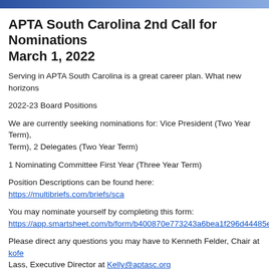[Figure (other): Decorative header banner image strip]
APTA South Carolina 2nd Call for Nominations March 1, 2022
Serving in APTA South Carolina is a great career plan. What new horizons
2022-23 Board Positions
We are currently seeking nominations for: Vice President (Two Year Term), 2 Delegates (Two Year Term)
1 Nominating Committee First Year (Three Year Term)
Position Descriptions can be found here: https://multibriefs.com/briefs/sca
You may nominate yourself by completing this form: https://app.smartsheet.com/b/form/b400870e773243a6bea1f296d44485e4
Please direct any questions you may have to Kenneth Felder, Chair at kofe... Lass, Executive Director at Kelly@aptasc.org
2022 APTA South Carolina Annual Conference